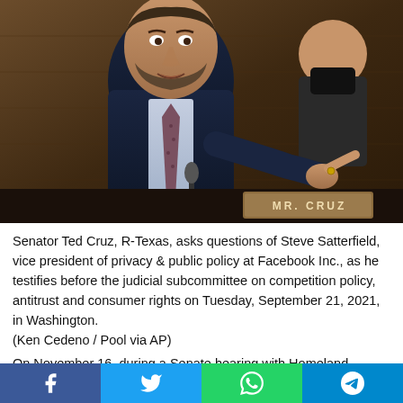[Figure (photo): Senator Ted Cruz sitting at a Senate hearing desk, pointing, wearing a dark suit and tie. A nameplate reading 'MR. CRUZ' is visible in front of him. A woman in a mask is seated behind him to the right.]
Senator Ted Cruz, R-Texas, asks questions of Steve Satterfield, vice president of privacy & public policy at Facebook Inc., as he testifies before the judicial subcommittee on competition policy, antitrust and consumer rights on Tuesday, September 21, 2021, in Washington.
(Ken Cedeno / Pool via AP)
On November 16, during a Senate hearing with Homeland Security Secretary Alejandro Mayorkas, Cruz said Mayorkas is